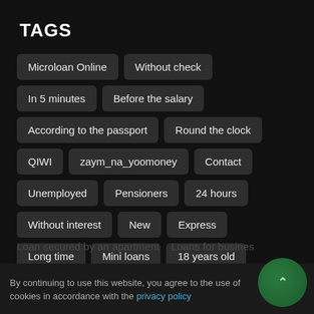TAGS
Microloan Online
Without check
In 5 minutes
Before the salary
According to the passport
Round the clock
QIWI
zaym_na_yoomoney
Contact
Unemployed
Pensioners
24 hours
Without interest
New
Express
Long time
Mini loans
18 years old
Self-employed
Mortgage
Loan secured by an car
Loan secured by an apartment   Loans for busines
By continuing to use this website, you agree to the use of cookies in accordance with the privacy policy